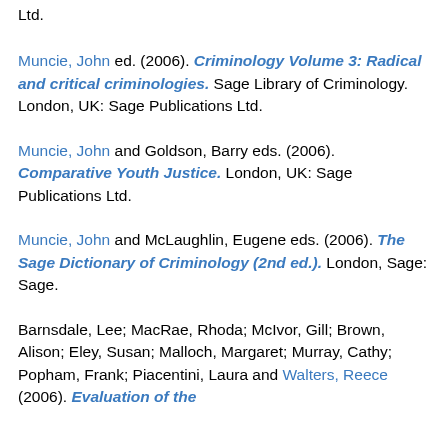Ltd.
Muncie, John ed. (2006). Criminology Volume 3: Radical and critical criminologies. Sage Library of Criminology. London, UK: Sage Publications Ltd.
Muncie, John and Goldson, Barry eds. (2006). Comparative Youth Justice. London, UK: Sage Publications Ltd.
Muncie, John and McLaughlin, Eugene eds. (2006). The Sage Dictionary of Criminology (2nd ed.). London, Sage: Sage.
Barnsdale, Lee; MacRae, Rhoda; McIvor, Gill; Brown, Alison; Eley, Susan; Malloch, Margaret; Murray, Cathy; Popham, Frank; Piacentini, Laura and Walters, Reece (2006). Evaluation of the